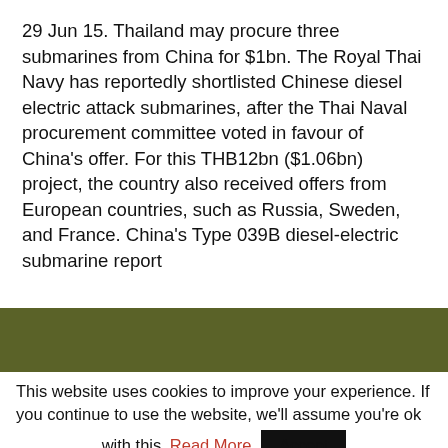29 Jun 15. Thailand may procure three submarines from China for $1bn. The Royal Thai Navy has reportedly shortlisted Chinese diesel electric attack submarines, after the Thai Naval procurement committee voted in favour of China's offer. For this THB12bn ($1.06bn) project, the country also received offers from European countries, such as Russia, Sweden, and France. China's Type 039B diesel-electric submarine report
This website uses cookies to improve your experience. If you continue to use the website, we'll assume you're ok with this. Read More Accept